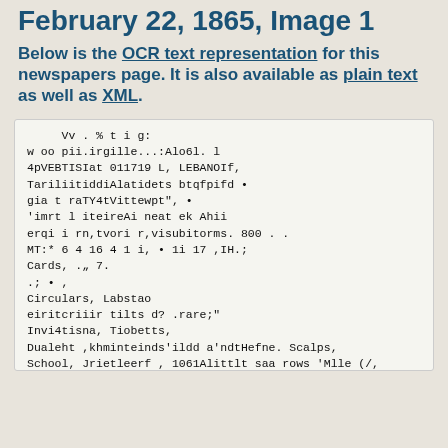February 22, 1865, Image 1
Below is the OCR text representation for this newspapers page. It is also available as plain text as well as XML.
Vv . % t i g:
w oo pii.irgille...:Alo6l. l
4pVEBTISIat 011719 L, LEBANOIf,
TariliitiddiAlatidets btqfpifd •
gia t raTY4tVittewpt", •
'imrt l iteireAi neat ek Ahii
erqi i rn,tvori r,visubitorms. 800 . .
MT:* 6 4 16 4 1 i, • 1i 17 ,IH.;
Cards, .„ 7.
.; • ,
Circulars, Labstao
eiritcriiir tilts d? .rare;"
Invi4tisna, Tiobetts,
Dualeht ,khminteinds'ildd a'ndtHefne. Scalps,
School, Jrietleerf , 1061Alittlt saa rows 'Mlle (/,
correct4serisektgrelllth p jeftlestomf piper ,itlei
lw lSlthrly kept
far sale et ate alltne a meo'4   a ron"